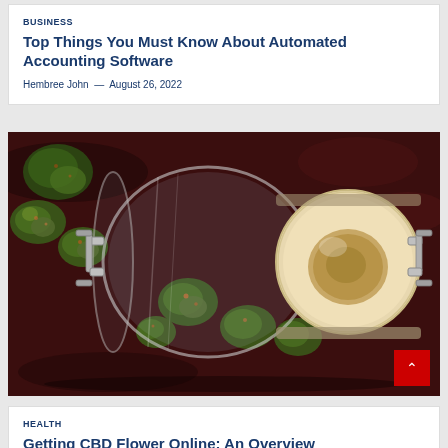BUSINESS
Top Things You Must Know About Automated Accounting Software
Hembree John — August 26, 2022
[Figure (photo): A glass jar tipped on its side spilling cannabis flower buds onto a dark red surface, with the white ceramic lid visible on the right side.]
HEALTH
Getting CBD Flower Online: An Overview